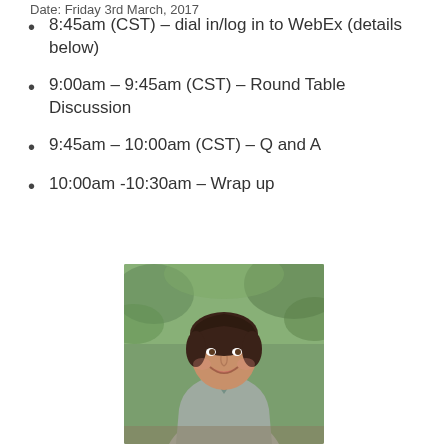Date: Friday 3rd March, 2017
8:45am (CST) – dial in/log in to WebEx (details below)
9:00am – 9:45am (CST) – Round Table Discussion
9:45am – 10:00am (CST) – Q and A
10:00am -10:30am – Wrap up
[Figure (photo): Portrait photo of a smiling woman with dark brown hair, wearing a grey tweed blazer, seated outdoors with green foliage in the background.]